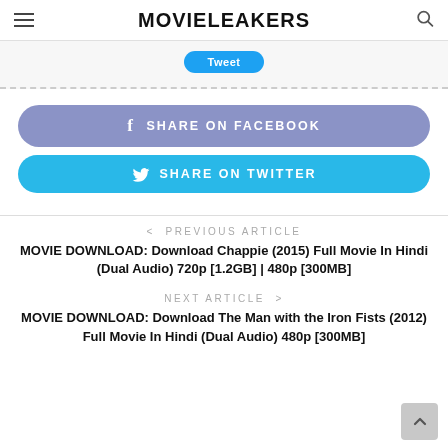MOVIELEAKERS
[Figure (screenshot): Partial tweet button visible at top of content area]
SHARE ON FACEBOOK
SHARE ON TWITTER
< PREVIOUS ARTICLE
MOVIE DOWNLOAD: Download Chappie (2015) Full Movie In Hindi (Dual Audio) 720p [1.2GB] | 480p [300MB]
NEXT ARTICLE >
MOVIE DOWNLOAD: Download The Man with the Iron Fists (2012) Full Movie In Hindi (Dual Audio) 480p [300MB]